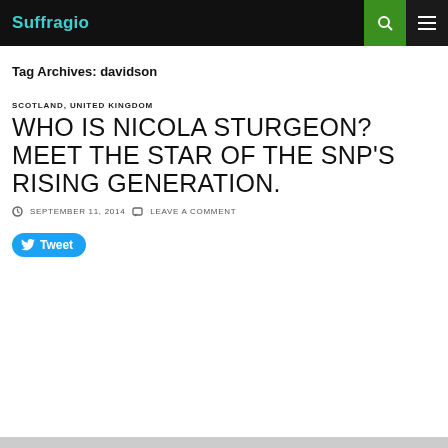Suffragio
Tag Archives: davidson
SCOTLAND, UNITED KINGDOM
WHO IS NICOLA STURGEON? MEET THE STAR OF THE SNP'S RISING GENERATION.
SEPTEMBER 11, 2014  LEAVE A COMMENT
Tweet